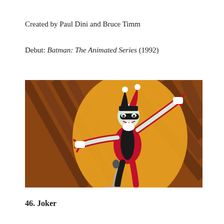Created by Paul Dini and Bruce Timm
Debut: Batman: The Animated Series (1992)
[Figure (illustration): Animated illustration of Harley Quinn in her classic black and red jester costume, posed dramatically at a microphone stand against an orange spotlight on a wooden stage floor background. From Batman: The Animated Series.]
46. Joker